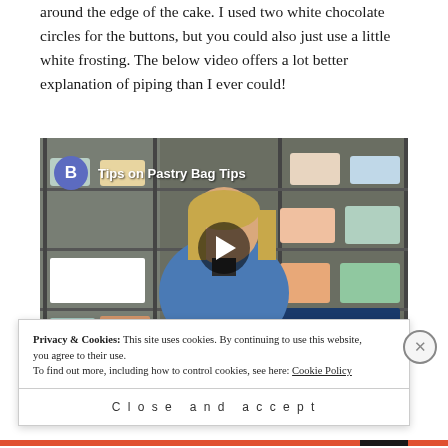around the edge of the cake. I used two white chocolate circles for the buttons, but you could also just use a little white frosting. The below video offers a lot better explanation of piping than I ever could!
[Figure (screenshot): Embedded YouTube video thumbnail showing 'Tips on Pastry Bag Tips' with a woman in a blue jacket standing in front of cake display shelves, with a play button overlay.]
Privacy & Cookies: This site uses cookies. By continuing to use this website, you agree to their use. To find out more, including how to control cookies, see here: Cookie Policy
Close and accept